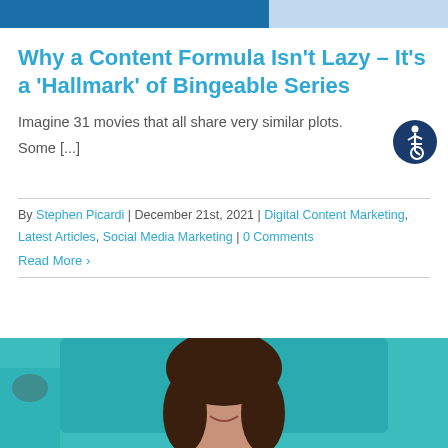[Figure (photo): Partial top banner image showing blue background with orange/white logo on left side and light blue on right side]
Why a Content Formula Isn't Lazy – It's a 'Hallmark' of Bingeable Series
Imagine 31 movies that all share very similar plots.
Some [...]
[Figure (illustration): Accessibility icon: person in wheelchair in a dark navy circle]
By Stephen Picardi | December 21st, 2021 | Digital Content Marketing, Latest Articles, Social Media Marketing | 0 Comments
Read More >
[Figure (photo): Bottom partial image showing a woman with dark hair in front of a teal/green screen or monitor, illustration style]